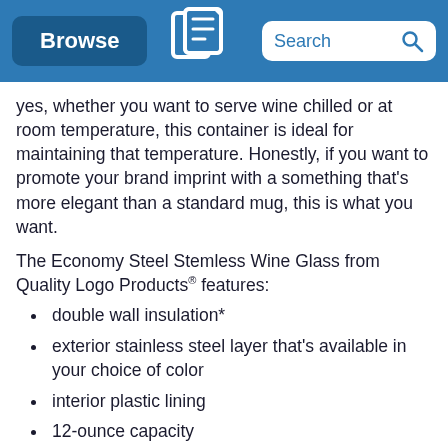Browse | [Quality Logo Products logo] | Search
yes, whether you want to serve wine chilled or at room temperature, this container is ideal for maintaining that temperature. Honestly, if you want to promote your brand imprint with a something that's more elegant than a standard mug, this is what you want.
The Economy Steel Stemless Wine Glass from Quality Logo Products® features:
double wall insulation*
exterior stainless steel layer that's available in your choice of color
interior plastic lining
12-ounce capacity
press-on, drink-through lid with a rubber gasket that provides a snug fit